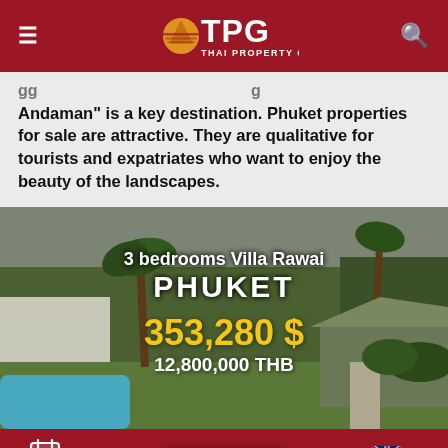TPG Thai Property Group
Andaman" is a key destination. Phuket properties for sale are attractive. They are qualitative for tourists and expatriates who want to enjoy the beauty of the landscapes.
[Figure (photo): Outdoor photo of a villa with tropical garden, palm trees, green lawn, swimming pool edge visible at bottom left, overcast sky. Text overlay shows property listing details.]
3 bedrooms Villa Rawai PHUKET 353,280 $ 12,800,000 THB
Privacy Policy